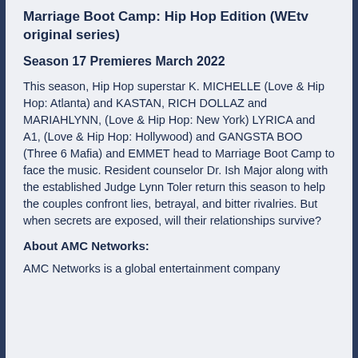Marriage Boot Camp: Hip Hop Edition (WEtv original series)
Season 17 Premieres March 2022
This season, Hip Hop superstar K. MICHELLE (Love & Hip Hop: Atlanta) and KASTAN, RICH DOLLAZ and MARIAHLYNN, (Love & Hip Hop: New York) LYRICA and A1, (Love & Hip Hop: Hollywood) and GANGSTA BOO (Three 6 Mafia) and EMMET head to Marriage Boot Camp to face the music. Resident counselor Dr. Ish Major along with the established Judge Lynn Toler return this season to help the couples confront lies, betrayal, and bitter rivalries. But when secrets are exposed, will their relationships survive?
About AMC Networks:
AMC Networks is a global entertainment company